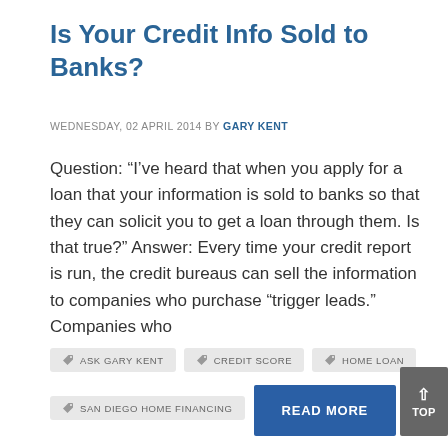Is Your Credit Info Sold to Banks?
WEDNESDAY, 02 APRIL 2014 BY GARY KENT
Question: “I’ve heard that when you apply for a loan that your information is sold to banks so that they can solicit you to get a loan through them. Is that true?” Answer: Every time your credit report is run, the credit bureaus can sell the information to companies who purchase “trigger leads.” Companies who
ASK GARY KENT
CREDIT SCORE
HOME LOAN
SAN DIEGO HOME FINANCING